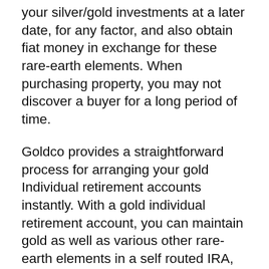your silver/gold investments at a later date, for any factor, and also obtain fiat money in exchange for these rare-earth elements. When purchasing property, you may not discover a buyer for a long period of time.
Goldco provides a straightforward process for arranging your gold Individual retirement accounts instantly. With a gold individual retirement account, you can maintain gold as well as various other rare-earth elements in a self routed IRA, rather than bonds or stocks.
To sign up an account, check out the Goldco internet site, fill in the application with the required details, then select just how to transfer right into your IRA. After this, you